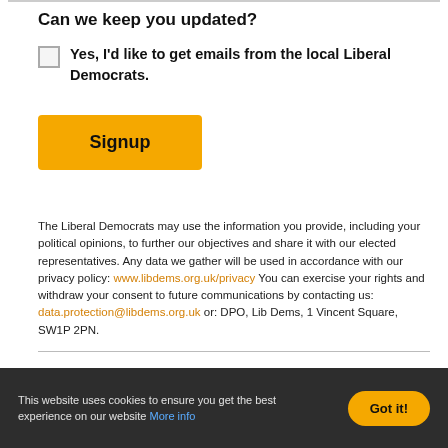Can we keep you updated?
Yes, I'd like to get emails from the local Liberal Democrats.
[Figure (other): Orange Signup button]
The Liberal Democrats may use the information you provide, including your political opinions, to further our objectives and share it with our elected representatives. Any data we gather will be used in accordance with our privacy policy: www.libdems.org.uk/privacy You can exercise your rights and withdraw your consent to future communications by contacting us: data.protection@libdems.org.uk or: DPO, Lib Dems, 1 Vincent Square, SW1P 2PN.
This website uses cookies to ensure you get the best experience on our website More info
[Figure (other): Got it! cookie consent button]